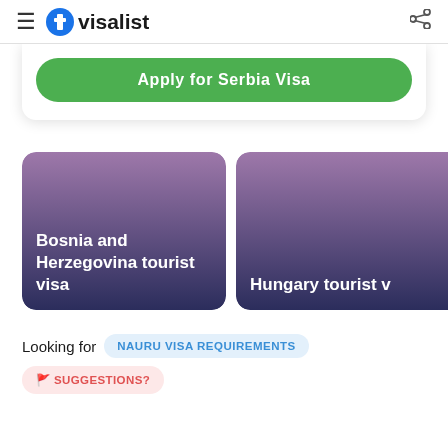visalist
Apply for Serbia Visa
Bosnia and Herzegovina tourist visa
Hungary tourist visa
Looking for NAURU VISA REQUIREMENTS 🚩 SUGGESTIONS?